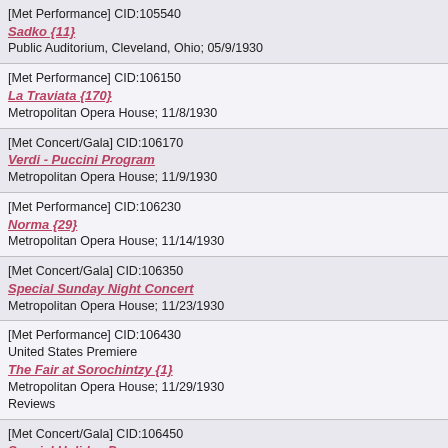[Met Performance] CID:105540
Sadko {11}
Public Auditorium, Cleveland, Ohio; 05/9/1930
[Met Performance] CID:106150
La Traviata {170}
Metropolitan Opera House; 11/8/1930
[Met Concert/Gala] CID:106170
Verdi - Puccini Program
Metropolitan Opera House; 11/9/1930
[Met Performance] CID:106230
Norma {29}
Metropolitan Opera House; 11/14/1930
[Met Concert/Gala] CID:106350
Special Sunday Night Concert
Metropolitan Opera House; 11/23/1930
[Met Performance] CID:106430
United States Premiere
The Fair at Sorochintzy {1}
Metropolitan Opera House; 11/29/1930
Reviews
[Met Concert/Gala] CID:106450
Special Holiday Program
Metropolitan Opera House; 11/30/1930
[Met Concert/Gala] CID:109080
Gala Opening Concert
Metropolitan Opera House; 11/8/1931
[Met Performance] CID:109330
Madama Butterfly {33}